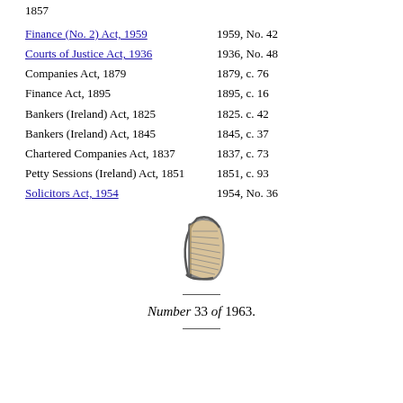1857
Finance (No. 2) Act, 1959    1959, No. 42
Courts of Justice Act, 1936    1936, No. 48
Companies Act, 1879    1879, c. 76
Finance Act, 1895    1895, c. 16
Bankers (Ireland) Act, 1825    1825. c. 42
Bankers (Ireland) Act, 1845    1845, c. 37
Chartered Companies Act, 1837    1837, c. 73
Petty Sessions (Ireland) Act, 1851    1851, c. 93
Solicitors Act, 1954    1954, No. 36
[Figure (illustration): Irish harp emblem/crest illustration]
Number 33 of 1963.